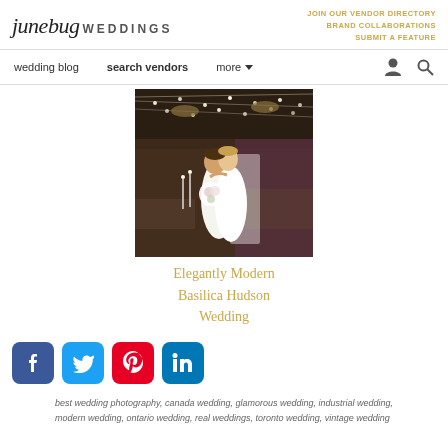junebug WEDDINGS
JOIN OUR VENDOR DIRECTORY
BRAND COLLABORATIONS
SUBMIT A FEATURE
wedding blog   search vendors   more
[Figure (photo): Bride and groom embracing in an elegant industrial venue with string lights and chandeliers]
Elegantly Modern Basilica Hudson Wedding
[Figure (infographic): Social media share buttons: Facebook, Twitter, Pinterest, LinkedIn]
best wedding photography, canada wedding, glamorous wedding, industrial wedding, modern wedding, ontario wedding, real weddings, toronto wedding, vintage wedding